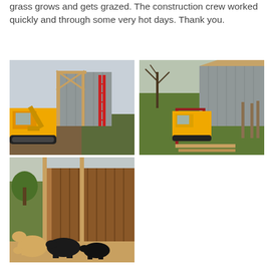grass grows and gets grazed. The construction crew worked quickly and through some very hot days. Thank you.
[Figure (photo): Construction site showing wooden frame structure being built with metal siding, yellow tracked skid steer loader on left, red ladder leaning against frame, overcast sky]
[Figure (photo): Construction site with metal siding and wooden roof framing, yellow skid steer loader, red gate in foreground, green hillside with bare trees in background]
[Figure (photo): Completed horse shelter/barn with metal roof and wooden interior walls, two horses (one palomino, one dark) standing inside and in front of shelter on dirt ground]